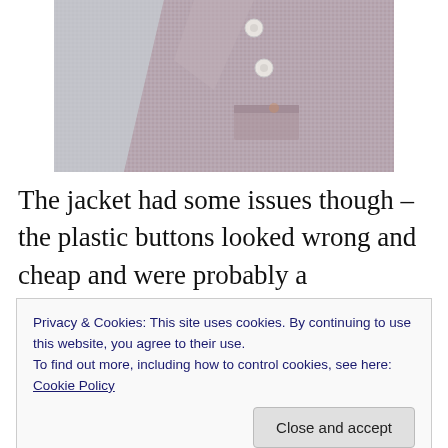[Figure (photo): Close-up photograph of a tweed or houndstooth patterned jacket showing buttons and a pocket, with a blue-grey background fabric visible]
The jacket had some issues though – the plastic buttons looked wrong and cheap and were probably a replacement, there was a large hole in the bottom hem, the sleeves were hack-hemmed way too short, and at first
Privacy & Cookies: This site uses cookies. By continuing to use this website, you agree to their use.
To find out more, including how to control cookies, see here: Cookie Policy
Close and accept